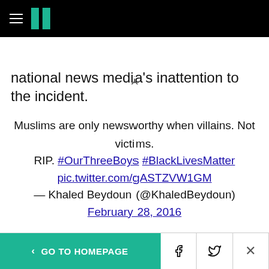HuffPost logo header
national news media's inattention to the incident.
Muslims are only newsworthy when villains. Not victims.
RIP. #OurThreeBoys #BlackLivesMatter pic.twitter.com/gASTZVW1GM
— Khaled Beydoun (@KhaledBeydoun) February 28, 2016
That Indiana Gov. Mike Pence (R) has yet to publicly comment on the young men's deaths is likely to fuel these suspicions. ThinkProgress